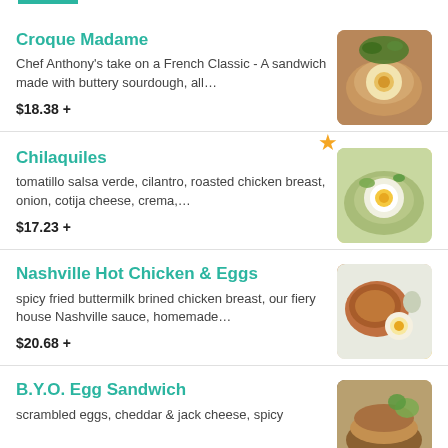Croque Madame
Chef Anthony's take on a French Classic - A sandwich made with buttery sourdough, all…
$18.38 +
Chilaquiles
tomatillo salsa verde, cilantro, roasted chicken breast, onion, cotija cheese, crema,…
$17.23 +
Nashville Hot Chicken & Eggs
spicy fried buttermilk brined chicken breast, our fiery house Nashville sauce, homemade…
$20.68 +
B.Y.O. Egg Sandwich
scrambled eggs, cheddar & jack cheese, spicy